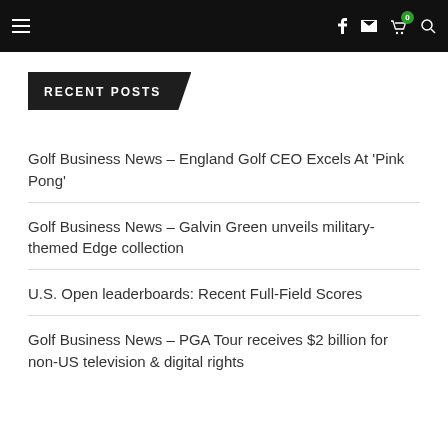Navigation bar with hamburger menu, Facebook, email, cart (0), and search icons
RECENT POSTS
Golf Business News – England Golf CEO Excels At 'Pink Pong'
Golf Business News – Galvin Green unveils military-themed Edge collection
U.S. Open leaderboards: Recent Full-Field Scores
Golf Business News – PGA Tour receives $2 billion for non-US television & digital rights